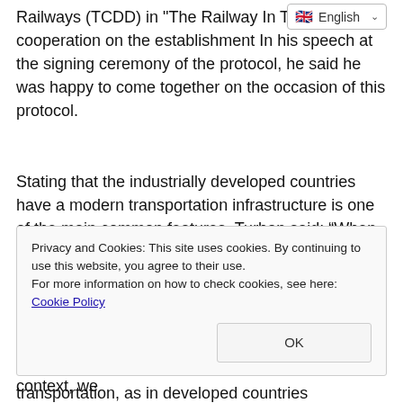Railways (TCDD) in "The Railway In Technology" cooperation on the establishment In his speech at the signing ceremony of the protocol, he said he was happy to come together on the occasion of this protocol.
Stating that the industrially developed countries have a modern transportation infrastructure is one of the main common features, Turhan said: “When it comes to industry, railway transportation is one step ahead. Because the most efficient way to reach the inner parts from the coasts is the railway. As a government, we have handled our railways with a new understanding in order to ensure a balanced distribution between modes of transportation, as in developed countries
Privacy and Cookies: This site uses cookies. By continuing to use this website, you agree to their use. For more information on how to check cookies, see here: Cookie Policy
the domestic and national railway industry. In this context, we